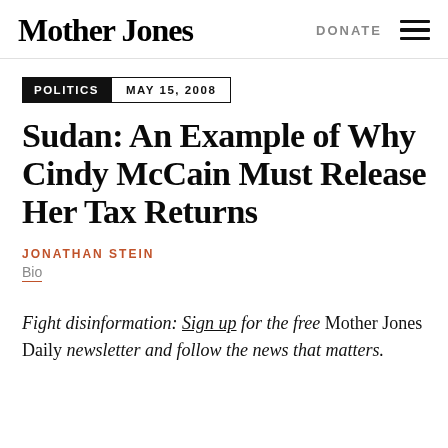Mother Jones | DONATE
POLITICS | MAY 15, 2008
Sudan: An Example of Why Cindy McCain Must Release Her Tax Returns
JONATHAN STEIN
Bio
Fight disinformation: Sign up for the free Mother Jones Daily newsletter and follow the news that matters.